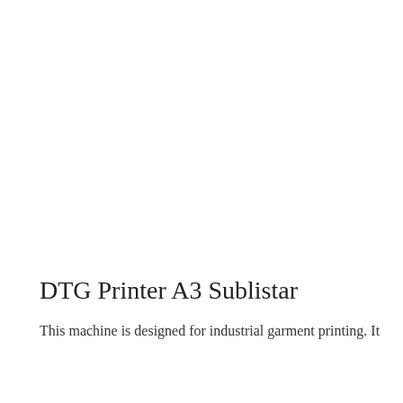DTG Printer A3 Sublistar
This machine is designed for industrial garment printing. It